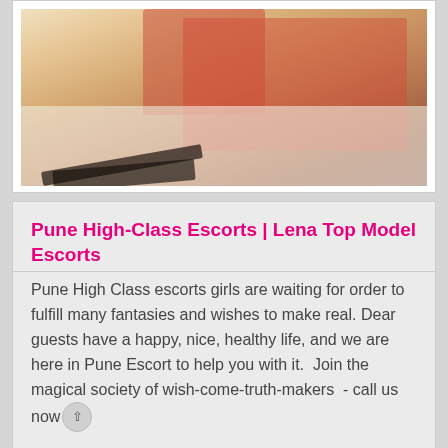[Figure (photo): Woman in red dress lying on white bed with red pillow, wearing black high heels]
Pune High-Class Escorts | Lena Top Model Escorts
Pune High Class escorts girls are waiting for order to fulfill many fantasies and wishes to make real. Dear guests have a happy, nice, healthy life, and we are here in Pune Escort to help you with it.  Join the magical society of wish-come-truth-makers  - call us now
Our Pune standards of beauty,